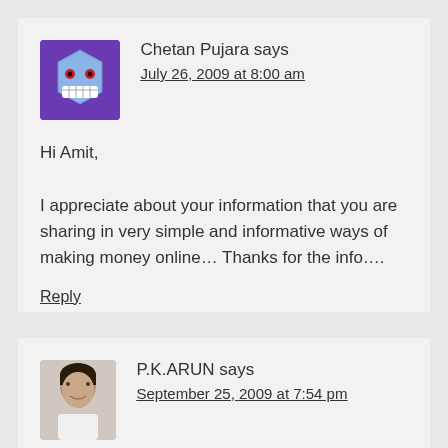[Figure (illustration): Purple avatar icon with a monster face]
Chetan Pujara says
July 26, 2009 at 8:00 am
Hi Amit,

I appreciate about your information that you are sharing in very simple and informative ways of making money online… Thanks for the info….
Reply
[Figure (photo): Photo of a person (P.K. ARUN avatar)]
P.K.ARUN says
September 25, 2009 at 7:54 pm